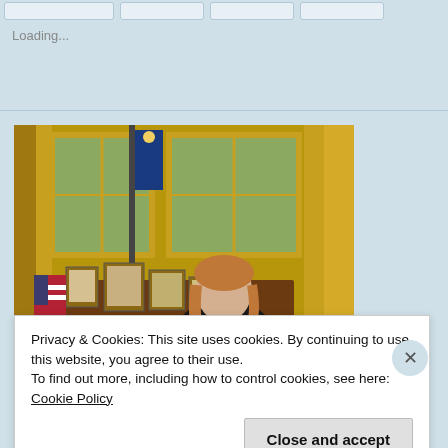Loading...
[Figure (photo): A woman in a black top sitting behind a large mahogany desk in what appears to be the Oval Office replica, with framed photos on a credenza behind her, an American flag and presidential flag visible, gold curtains and large windows in the background.]
Privacy & Cookies: This site uses cookies. By continuing to use this website, you agree to their use.
To find out more, including how to control cookies, see here: Cookie Policy
Close and accept